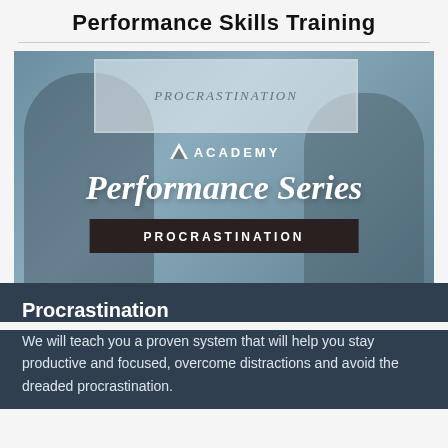Performance Skills Training
[Figure (photo): Two smiling people standing in front of a whiteboard with 'PROCRASTINATION' written on it. Overlaid with VS Academy Performance Series branding and a 'PROCRASTINATION' banner.]
Procrastination
We will teach you a proven system that will help you stay productive and focused, overcome distractions and avoid the dreaded procrastination.